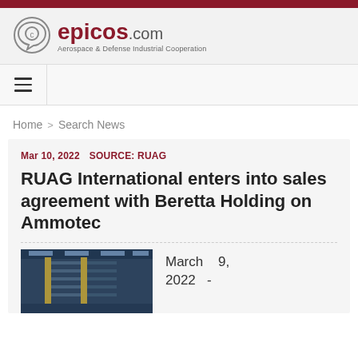[Figure (logo): Epicos.com logo with circular icon and tagline 'Aerospace & Defense Industrial Cooperation']
Home > Search News
Mar 10, 2022  SOURCE: RUAG
RUAG International enters into sales agreement with Beretta Holding on Ammotec
March 9, 2022 -
[Figure (photo): Industrial facility interior with yellow pillars and shelving/warehouse equipment]